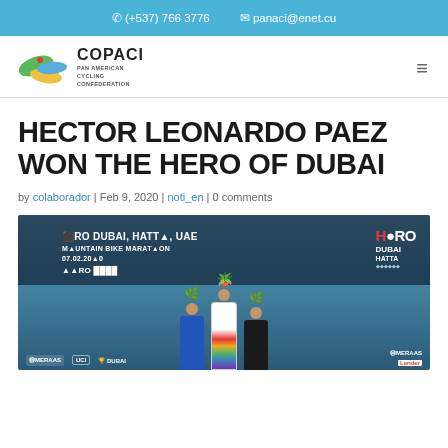(+537) 766 3776   panaci@enet.cu
[Figure (logo): COPACI Pan American Cycling Confederation logo with colorful bird/cycling graphic]
HECTOR LEONARDO PAEZ WON THE HERO OF DUBAI
by colaborador | Feb 9, 2020 | noti_en | 0 comments
[Figure (photo): Three cyclists on a podium at the Hero Dubai Hatta Mountain Bike Marathon 07.02.2020, each holding a plant trophy above their heads. Center cyclist wears a world champion jersey. Sponsors include MERAAS, UCI, Dubai.]